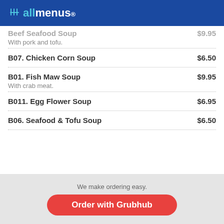allmenus
Beef Seafood Soup — $9.95 — With pork and tofu.
B07. Chicken Corn Soup — $6.50
B01. Fish Maw Soup — $9.95 — With crab meat.
B011. Egg Flower Soup — $6.95
B06. Seafood & Tofu Soup — $6.50
We make ordering easy. Order with Grubhub